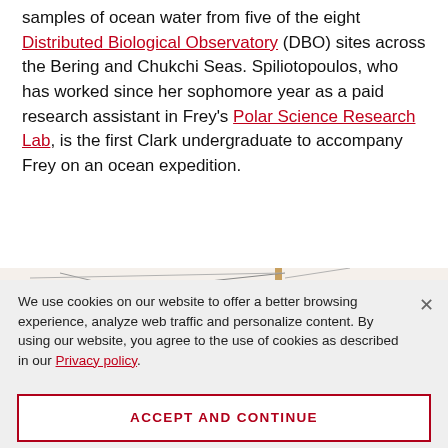samples of ocean water from five of the eight Distributed Biological Observatory (DBO) sites across the Bering and Chukchi Seas. Spiliotopoulos, who has worked since her sophomore year as a paid research assistant in Frey's Polar Science Research Lab, is the first Clark undergraduate to accompany Frey on an ocean expedition.
[Figure (photo): Partial view of a red ship hull with rigging and wooden crane/davit equipment visible against a white background]
We use cookies on our website to offer a better browsing experience, analyze web traffic and personalize content. By using our website, you agree to the use of cookies as described in our Privacy policy.
ACCEPT AND CONTINUE